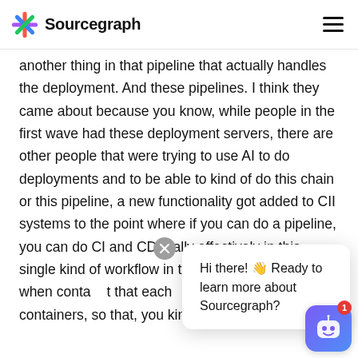Sourcegraph
another thing in that pipeline that actually handles the deployment. And these pipelines. I think they came about because you know, while people in the first wave had these deployment servers, there are other people that were trying to use AI to do deployments and to be able to kind of do this chain or this pipeline, a new functionality got added to CII systems to the point where if you can do a pipeline, you can do CI and CD really effectively in this single kind of workflow in this single system. And. when containers it that each be handled with containers, so that, you kind of, you
Hi there! 👋 Ready to learn more about Sourcegraph?